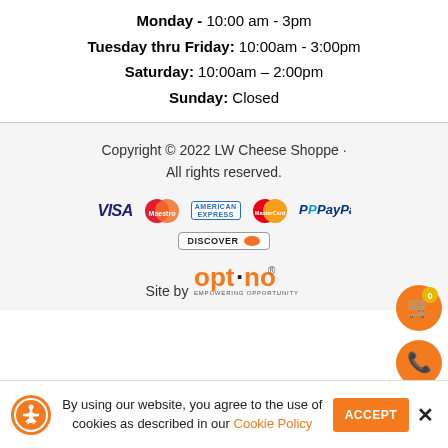Monday - 10:00 am - 3pm
Tuesday thru Friday: 10:00am - 3:00pm
Saturday: 10:00am – 2:00pm
Sunday: Closed
Copyright © 2022 LW Cheese Shoppe · All rights reserved.
[Figure (logo): Payment method logos: VISA, Maestro, American Express, MasterCard, PayPal, Discover]
[Figure (logo): Site by Optuno - Empowering Opportunity]
By using our website, you agree to the use of cookies as described in our Cookie Policy